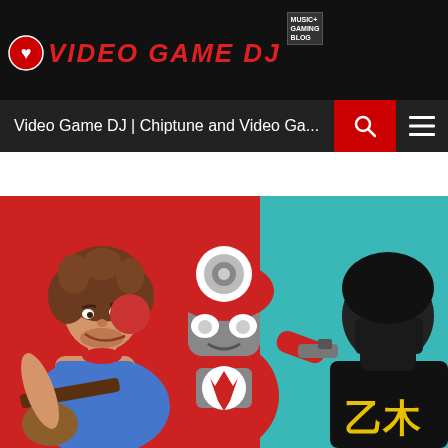VIDEO GAME DJ | Music + Gaming Blog
Video Game DJ | Chiptune and Video Ga...
[Figure (illustration): Illustrated comic-style artwork showing three characters: a curly-haired man playing guitar on the left wearing a blue tank top with a red neckerchief, a red robot character in the center with white eyes and red arms raised, and a ninja character on the right wearing a black mask with blue eyes and yellow kanji symbols on black clothing. Background is red and teal/cyan.]